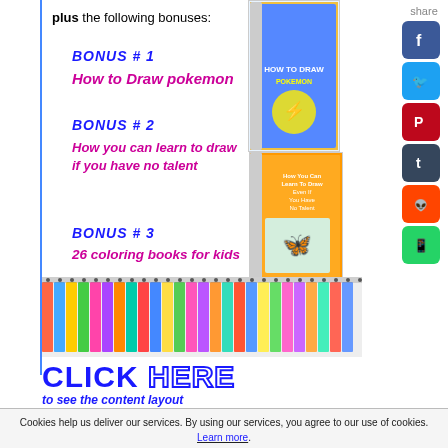plus the following bonuses:
BONUS # 1
How to Draw pokemon
BONUS # 2
How you can learn to draw if you have no talent
BONUS # 3
26 coloring books for kids
[Figure (photo): Spiral-bound book cover showing How to Draw Pokemon with Pikachu illustration]
[Figure (photo): Spiral-bound book cover: How You Can Learn To Draw Even If You Have No Talent]
[Figure (photo): Row of 26 colorful spiral-bound coloring books for kids]
CLICK HERE to see the content layout
[Figure (infographic): Social share buttons: Facebook, Twitter, Pinterest, Tumblr, Reddit, WhatsApp with 'share' label]
Cookies help us deliver our services. By using our services, you agree to our use of cookies. Learn more.
OK